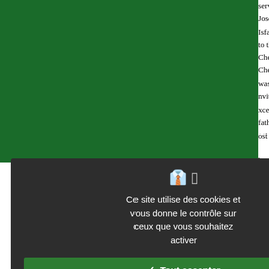services as translators for visiting... Joseph a Rosario, for instance, acte... Isfahan in 1636–1637. 88 The Polish... to the shah drafted by the Carmeli... Chézaud, the learned Jesuit who hea... Chézaud was given access to the re... was invited at regular intervals. 90 A... nvited to represent the Christian v... xcellent Persian. 91 The most famou... father who during the nearly fifty ye... ost of European visitors, including m... The Christian fathers also played a... hrough missionaries visiting from ot... naterial arriving directly from Europe... nd developments in Europe, would ... vents in the West and to keep the m... The missionaries, finally, were popu... nedical skills many brought with t... ossess. As noted, various foreign... Christian saints and attributed heali... nedical knowledge and curative tale... he homes of the elite. Success in cu... vord. 94 This remained a pattern for... bserved that many Muslims were d...
Ce site utilise des cookies et vous donne le contrôle sur ceux que vous souhaitez activer
✓ Tout accepter
✗ Tout refuser
Personnaliser
Politique de confidentialité